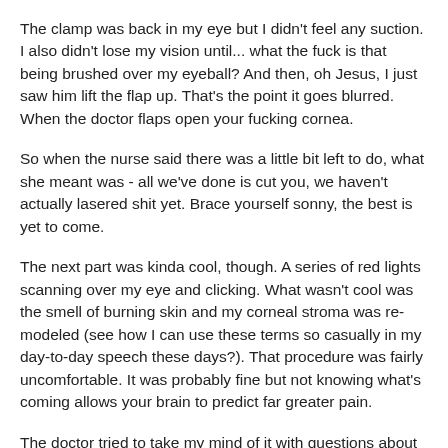The clamp was back in my eye but I didn't feel any suction. I also didn't lose my vision until... what the fuck is that being brushed over my eyeball? And then, oh Jesus, I just saw him lift the flap up. That's the point it goes blurred. When the doctor flaps open your fucking cornea.
So when the nurse said there was a little bit left to do, what she meant was - all we've done is cut you, we haven't actually lasered shit yet. Brace yourself sonny, the best is yet to come.
The next part was kinda cool, though. A series of red lights scanning over my eye and clicking. What wasn't cool was the smell of burning skin and my corneal stroma was re-modeled (see how I can use these terms so casually in my day-to-day speech these days?). That procedure was fairly uncomfortable. It was probably fine but not knowing what's coming allows your brain to predict far greater pain.
The doctor tried to take my mind of it with questions about my CELTA, living in Izmir and other shit that I really wasn't interested in answering while a bright laser was threading. But...